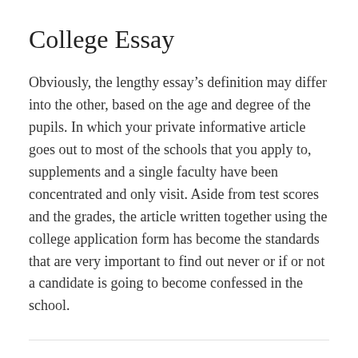College Essay
Obviously, the lengthy essay’s definition may differ into the other, based on the age and degree of the pupils. In which your private informative article goes out to most of the schools that you apply to, supplements and a single faculty have been concentrated and only visit. Aside from test scores and the grades, the article written together using the college application form has become the standards that are very important to find out never or if or not a candidate is going to become confessed in the school.
← What You Don’t Know About Essays for College
Ideas, Formulas and Shortcuts for How to Write a College Essay